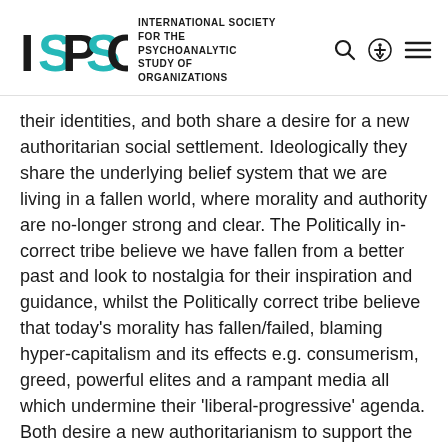ISPSO — INTERNATIONAL SOCIETY FOR THE PSYCHOANALYTIC STUDY OF ORGANIZATIONS
their identities, and both share a desire for a new authoritarian social settlement. Ideologically they share the underlying belief system that we are living in a fallen world, where morality and authority are no-longer strong and clear. The Politically in-correct tribe believe we have fallen from a better past and look to nostalgia for their inspiration and guidance, whilst the Politically correct tribe believe that today's morality has fallen/failed, blaming hyper-capitalism and its effects e.g. consumerism, greed, powerful elites and a rampant media all which undermine their 'liberal-progressive' agenda. Both desire a new authoritarianism to support the specific kind of new morality they wish to impose on others, the PIC do this overtly, the PC tribe covertly.